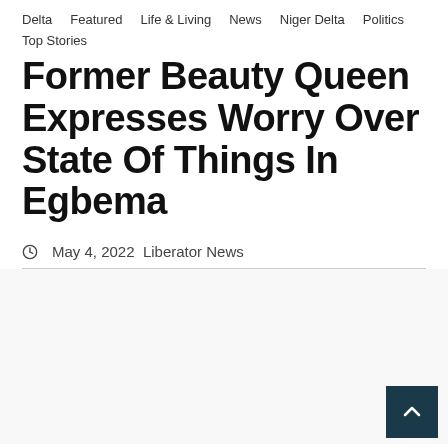Delta   Featured   Life & Living   News   Niger Delta   Politics
Top Stories
Former Beauty Queen Expresses Worry Over State Of Things In Egbema
May 4, 2022  Liberator News
[Figure (photo): Large image area below article header, appears blank/white in this view]